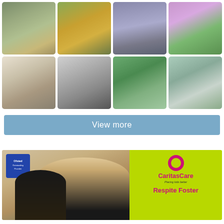[Figure (photo): 8-photo grid collage: road under bridge, autumn fence with flowers, railway tracks, bee on purple flowers, black and white pub sign, black and white street scene with pram, green pathway with wooden posts, green bus at bus station]
View more
[Figure (photo): Advertisement: Ofsted Outstanding Foster badge, children photo, CaritasCare logo with ring, tagline 'Placing kids better', heading 'Respite Foster' on green background]